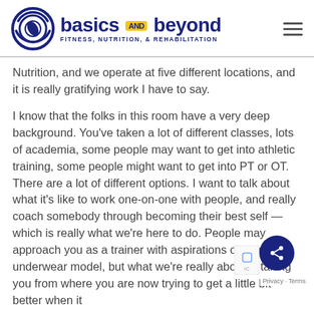basics AND beyond FITNESS, NUTRITION, & REHABILITATION
Nutrition, and we operate at five different locations, and it is really gratifying work I have to say.
I know that the folks in this room have a very deep background. You've taken a lot of different classes, lots of academia, some people may want to get into athletic training, some people might want to get into PT or OT. There are a lot of different options. I want to talk about what it's like to work one-on-one with people, and really coach somebody through becoming their best self — which is really what we're here to do. People may approach you as a trainer with aspirations of being an underwear model, but what we're really about is taking you from where you are now trying to get a little bit better when it comes to physical fitness, nutrition, and...